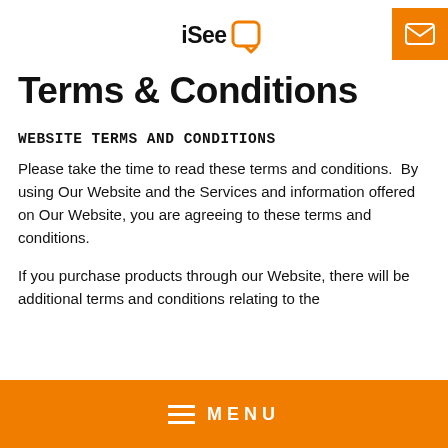iSee [logo]
Terms & Conditions
WEBSITE TERMS AND CONDITIONS
Please take the time to read these terms and conditions.  By using Our Website and the Services and information offered on Our Website, you are agreeing to these terms and conditions.
If you purchase products through our Website, there will be additional terms and conditions relating to the
≡  MENU